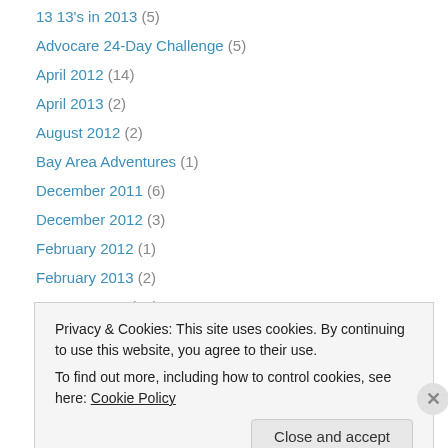13 13's in 2013 (5)
Advocare 24-Day Challenge (5)
April 2012 (14)
April 2013 (2)
August 2012 (2)
Bay Area Adventures (1)
December 2011 (6)
December 2012 (3)
February 2012 (1)
February 2013 (2)
January 2012 (11)
January 2013 (4)
July 2012 (7)
Privacy & Cookies: This site uses cookies. By continuing to use this website, you agree to their use. To find out more, including how to control cookies, see here: Cookie Policy
Close and accept